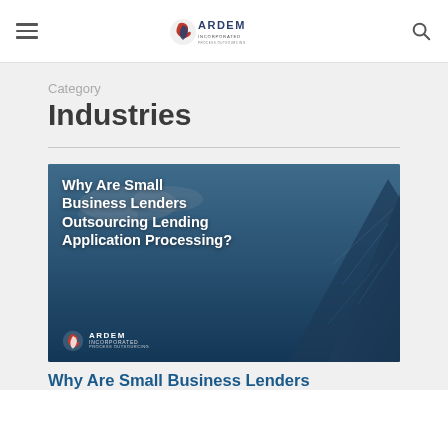ARDEM Incorporated
Category
Industries
[Figure (illustration): Article thumbnail image with blue glass skyscraper building photo and white bold text overlay reading: Why Are Small Business Lenders Outsourcing Lending Application Processing? with ARDEM logo at bottom left.]
Why Are Small Business Lenders